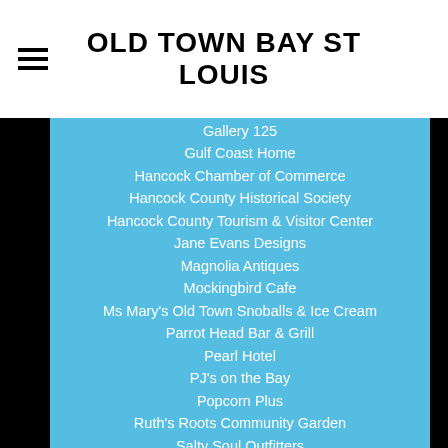OLD TOWN BAY ST LOUIS
Gallery 125
Gulf Coast Home
Hancock Chamber of Commerce
Hancock County Historical Society
Hancock County Tourism & Visitor Center
Jane Evans Designs
Magnolia Antiques
Mockingbird Cafe
Ms Mary's Old Town Snoballs & Ice Cream
Parrot Head Bar & Grill
Pearl Hotel
PJ's on the Bay
Popcorn Plus
Ruth's Roots Community Garden
Salty Soul Outfitters
Sassy Bird Interiors
Serious Bread